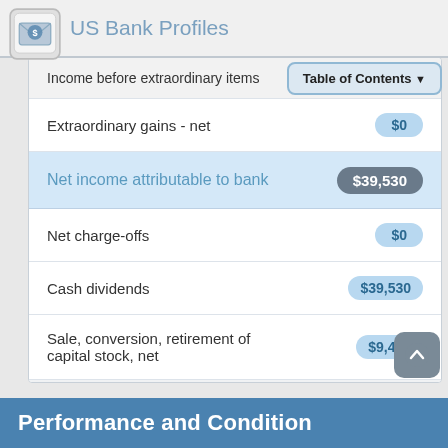US Bank Profiles
| Item | Value |
| --- | --- |
| Income before extraordinary items | $39,530 |
| Extraordinary gains - net | $0 |
| Net income attributable to bank | $39,530 |
| Net charge-offs | $0 |
| Cash dividends | $39,530 |
| Sale, conversion, retirement of capital stock, net | $9,455 |
| Net operating income | $31,100 |
Performance and Condition